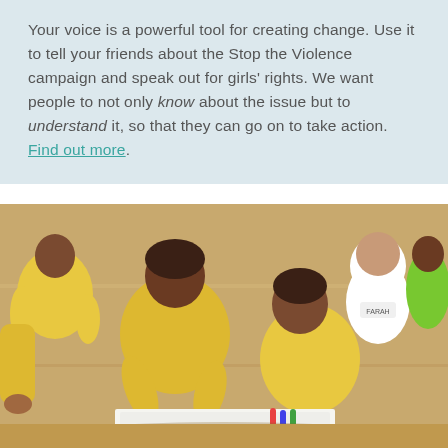Your voice is a powerful tool for creating change. Use it to tell your friends about the Stop the Violence campaign and speak out for girls' rights. We want people to not only know about the issue but to understand it, so that they can go on to take action. Find out more.
[Figure (photo): A group of children wearing yellow t-shirts sitting on the floor together, some drawing or writing on paper. A girl in a white hijab sits in the background observing.]